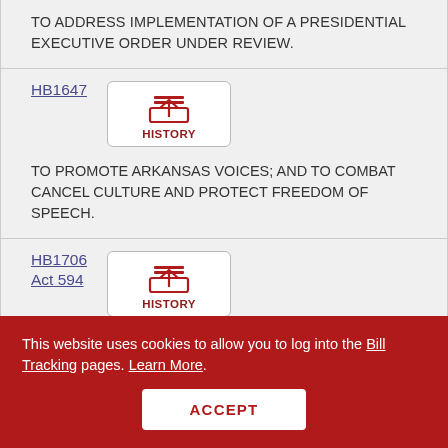TO ADDRESS IMPLEMENTATION OF A PRESIDENTIAL EXECUTIVE ORDER UNDER REVIEW.
HB1647
TO PROMOTE ARKANSAS VOICES; AND TO COMBAT CANCEL CULTURE AND PROTECT FREEDOM OF SPEECH.
HB1706
Act 594
TO CREATE THE LOGGING AND WOOD FIBER
This website uses cookies to allow you to log into the Bill Tracking pages. Learn More.